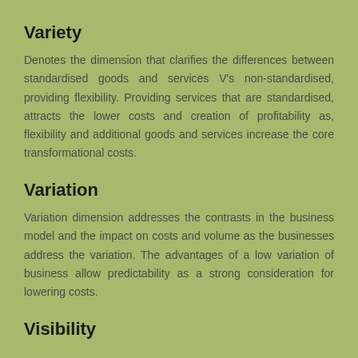Variety
Denotes the dimension that clarifies the differences between standardised goods and services V's non-standardised, providing flexibility. Providing services that are standardised, attracts the lower costs and creation of profitability as, flexibility and additional goods and services increase the core transformational costs.
Variation
Variation dimension addresses the contrasts in the business model and the impact on costs and volume as the businesses address the variation. The advantages of a low variation of business allow predictability as a strong consideration for lowering costs.
Visibility